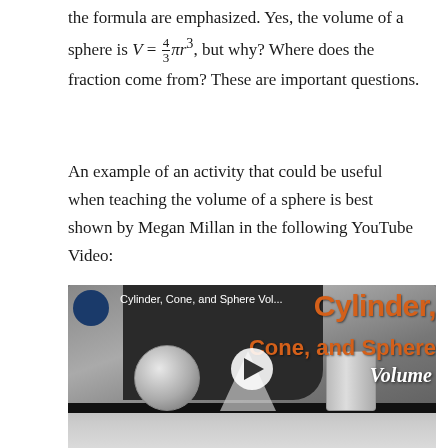the formula are emphasized. Yes, the volume of a sphere is V = (4/3)πr³, but why? Where does the fraction come from? These are important questions.
An example of an activity that could be useful when teaching the volume of a sphere is best shown by Megan Millan in the following YouTube Video:
[Figure (screenshot): YouTube video thumbnail showing a classroom scene with a person standing behind a table with a sphere (glass bowl), cone, and cylinder. Text overlay reads 'Cylinder, Cone, and Sphere Vol...' and 'Cylinder, Cone, and Sphere Volume' in orange. A play button is visible in the center.]